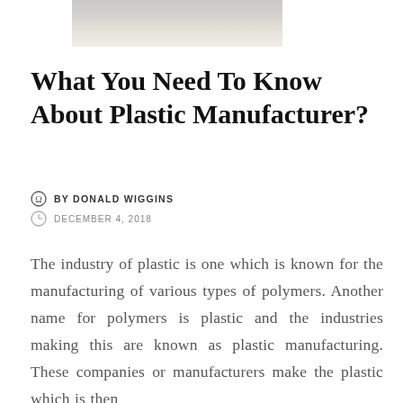[Figure (photo): Partial cropped photo strip showing a textured light grey/silver surface, cropped at the top of the page]
What You Need To Know About Plastic Manufacturer?
BY DONALD WIGGINS
DECEMBER 4, 2018
The industry of plastic is one which is known for the manufacturing of various types of polymers. Another name for polymers is plastic and the industries making this are known as plastic manufacturing. These companies or manufacturers make the plastic which is then